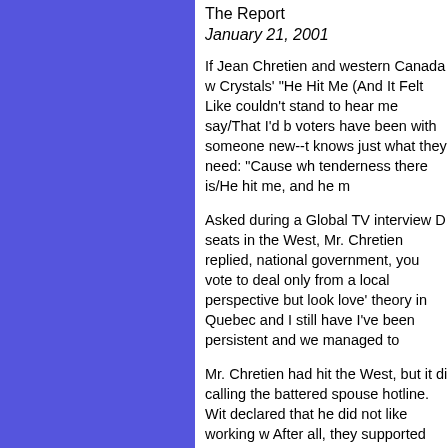The Report
January 21, 2001
If Jean Chretien and western Canada w... Crystals' "He Hit Me (And It Felt Like couldn't stand to hear me say/That I'd b voters have been with someone new--t knows just what they need: "Cause wh tenderness there is/He hit me, and he m
Asked during a Global TV interview D seats in the West, Mr. Chretien replied, national government, you vote to deal only from a local perspective but look love' theory in Quebec and I still have I've been persistent and we managed to
Mr. Chretien had hit the West, but it di calling the battered spouse hotline. Wit declared that he did not like working w After all, they supported the Alliance, Elinor Caplan had compared to neo-Na
A parental help Web site explains: "Th developed by Phyllis and David York i